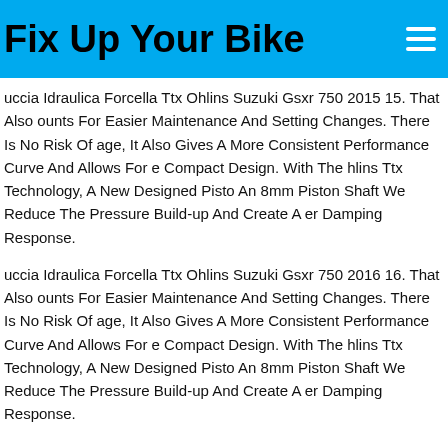Fix Up Your Bike
uccia Idraulica Forcella Ttx Ohlins Suzuki Gsxr 750 2015 15. That Also ounts For Easier Maintenance And Setting Changes. There Is No Risk Of age, It Also Gives A More Consistent Performance Curve And Allows For e Compact Design. With The hlins Ttx Technology, A New Designed Pisto An 8mm Piston Shaft We Reduce The Pressure Build-up And Create A er Damping Response.
uccia Idraulica Forcella Ttx Ohlins Suzuki Gsxr 750 2016 16. That Also ounts For Easier Maintenance And Setting Changes. There Is No Risk Of age, It Also Gives A More Consistent Performance Curve And Allows For e Compact Design. With The hlins Ttx Technology, A New Designed Pisto An 8mm Piston Shaft We Reduce The Pressure Build-up And Create A er Damping Response.
l Exhaust Arrow Competition Full Titanium Suzuki Gsx- 0 R 2017 > 2020